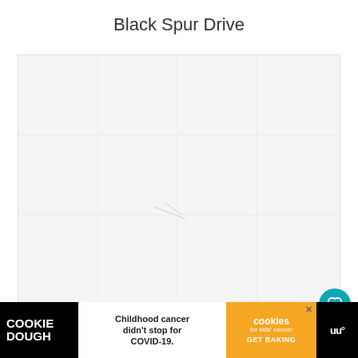Black Spur Drive
[Figure (map): A map view showing Black Spur Drive area, light gray background map with minimal detail visible]
[Figure (other): Advertisement banner: Cookie Dough brand ad — 'Childhood cancer didn't stop for COVID-19.' with cookies for kids cancer badge and GET BAKING call to action]